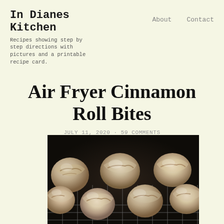In Dianes Kitchen
Recipes showing step by step directions with pictures and a printable recipe card.
About    Contact
Air Fryer Cinnamon Roll Bites
JULY 11, 2020  59 COMMENTS
[Figure (photo): Air Fryer Cinnamon Roll Bites on a wire rack, close-up photo showing glazed dough bites]